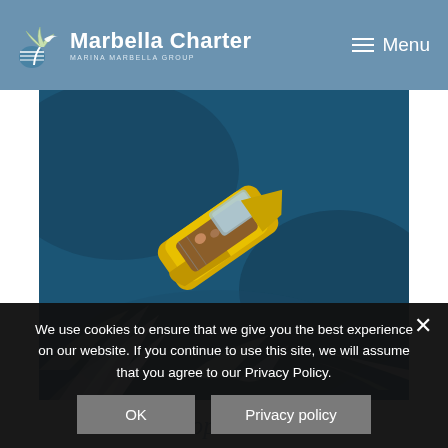Marbella Charter — Menu
[Figure (photo): Aerial view of a yellow motorboat speeding through deep blue water, creating white wake behind it, with passengers visible on deck.]
Leopard 70
Maximum guests: 12
Length: 22 m
We use cookies to ensure that we give you the best experience on our website. If you continue to use this site, we will assume that you agree to our Privacy Policy.